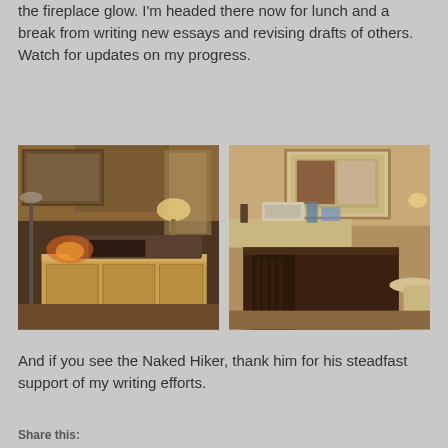the fireplace glow. I'm headed there now for lunch and a break from writing new essays and revising drafts of others. Watch for updates on my progress.
[Figure (photo): Interior room photo showing a wooden console/credenza, sofa, and fireplace glowing in the background with warm lighting]
[Figure (photo): Interior room photo showing a kitchen counter area, framed artwork on wall, and wooden dining furniture in foreground]
And if you see the Naked Hiker, thank him for his steadfast support of my writing efforts.
Share this: